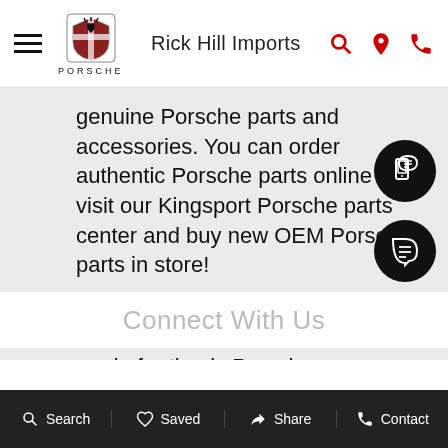Rick Hill Imports
genuine Porsche parts and accessories. You can order authentic Porsche parts online or visit our Kingsport Porsche parts center and buy new OEM Porsche parts in store!
Need to get a Porsche oil change? Schedule Porsche service online and come in for timely Porsche maintenance and repairs.
Connect With Us
Search   Saved   Share   Contact